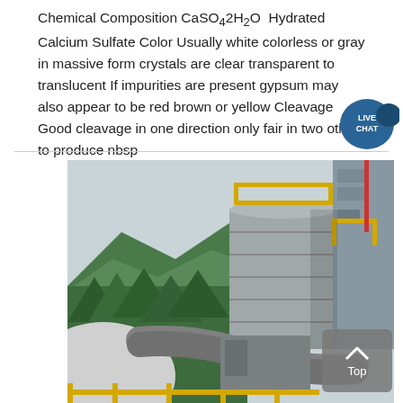Chemical Composition CaSO42H2O  Hydrated Calcium Sulfate Color Usually white colorless or gray in massive form crystals are clear transparent to translucent If impurities are present gypsum may also appear to be red brown or yellow Cleavage Good cleavage in one direction only fair in two others to produce nbsp
[Figure (photo): Industrial facility with large cylindrical storage tanks, pipes, and yellow railings, surrounded by green forested mountains in the background. Gray industrial setting.]